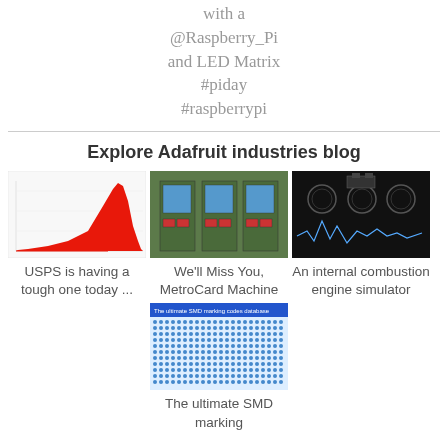with a @Raspberry_Pi and LED Matrix #piday #raspberrypi
Explore Adafruit industries blog
[Figure (screenshot): Red histogram chart on white background]
USPS is having a tough one today ...
[Figure (photo): MetroCard vending machines in a subway station]
We'll Miss You, MetroCard Machine
[Figure (screenshot): Internal combustion engine simulator dark UI screenshot]
An internal combustion engine simulator
[Figure (screenshot): The ultimate SMD marking codes database website screenshot]
The ultimate SMD marking